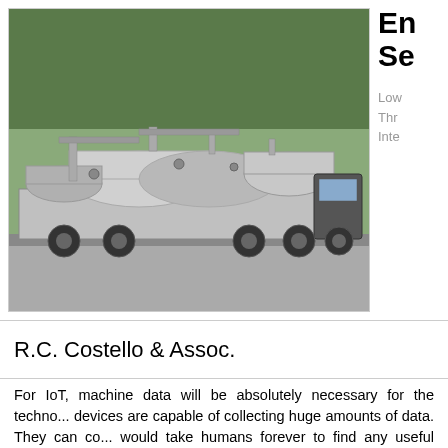[Figure (photo): Industrial machinery on a flatbed truck, appears to be pipeline or energy equipment with large cylindrical tanks, pipes, and mechanical components, outdoors with trees in background.]
En Se
Low Thr Inte
R.C. Costello & Assoc.
For IoT, machine data will be absolutely necessary for the techno... devices are capable of collecting huge amounts of data. They can co... would take humans forever to find any useful patterns or information in...
Computer programs can sort through the data and, through machin... data points could be useful. They can learn what's normal and point ... patterns in consumer behavior.
Machine learning requires a lot of data to learn, and IoT creates m... what to do with, so the two technologies work together very nicely... devices, those gadgets will become much more powerful.